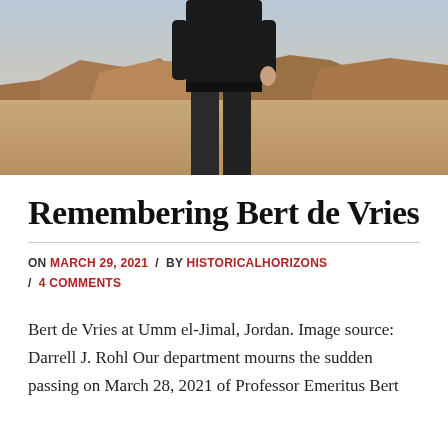[Figure (photo): Partial photo of a person standing outdoors at an archaeological site with desert rock formations in the background (Umm el-Jimal, Jordan). Only the torso and legs are visible, wearing dark clothing.]
Remembering Bert de Vries
ON MARCH 29, 2021 / BY HISTORICALHORIZONS / 4 COMMENTS
Bert de Vries at Umm el-Jimal, Jordan. Image source: Darrell J. Rohl Our department mourns the sudden passing on March 28, 2021 of Professor Emeritus Bert